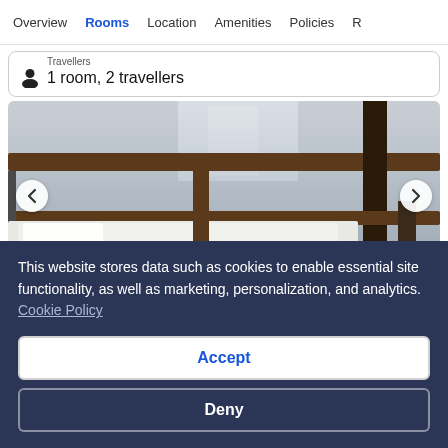Overview  Rooms  Location  Amenities  Policies  R
Travellers
1 room, 2 travellers
[Figure (photo): Interior photo of a bunk bed in a hostel/hotel room, viewed from above, with wooden railings and white bedding visible]
This website stores data such as cookies to enable essential site functionality, as well as marketing, personalization, and analytics. Cookie Policy
Accept
Deny